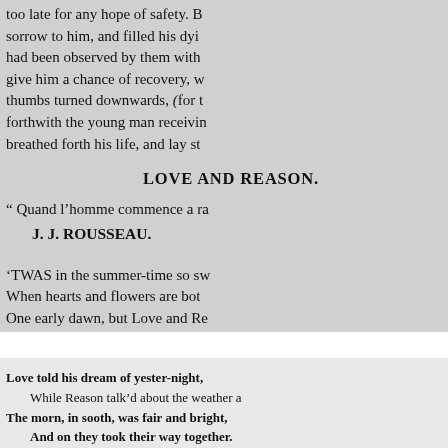too late for any hope of safety. B... sorrow to him, and filled his dyi... had been observed by them with... give him a chance of recovery, w... thumbs turned downwards, (for t... forthwith the young man receivin... breathed forth his life, and lay st...
LOVE AND REASON.
" Quand l'homme commence a ra...
J. J. ROUSSEAU.
'TWAS in the summer-time so sw...
When hearts and flowers are bot...
One early dawn, but Love and Re...
Love told his dream of yester-night,
    While Reason talk'd about the weather a...
The morn, in sooth, was fair and bright,
    And on they took their way together.
The boy in many a gambol flew,
    While Reason, like a Juno stalk'd,
And from her portly figure threw
    A lengthened shadow, as she walk'd.
No wonder Love, as on they past,
    Should find that sunny morning chill,
For still the shadow Reason cast